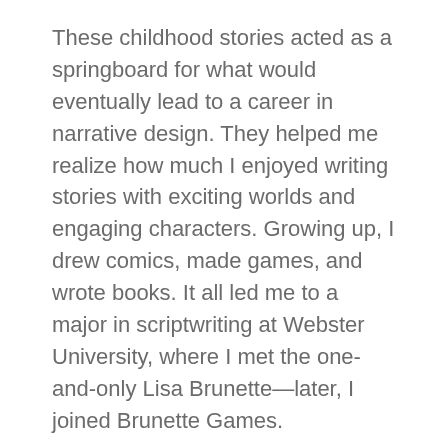These childhood stories acted as a springboard for what would eventually lead to a career in narrative design. They helped me realize how much I enjoyed writing stories with exciting worlds and engaging characters. Growing up, I drew comics, made games, and wrote books. It all led me to a major in scriptwriting at Webster University, where I met the one-and-only Lisa Brunette—later, I joined Brunette Games.
Since entering the game-writing industry, my passion for clams hasn't waned. In fact, Family Guy: The Quest for Stuff isn't the only title where I've featured clam-related storylines! To start, there's Redemption Games' Sweet Escapes, where the lovable cast of characters deals with a clam infestation during the second season.